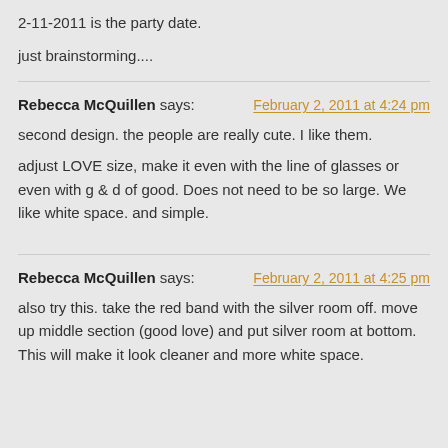2-11-2011 is the party date.
just brainstorming....
Rebecca McQuillen says:    February 2, 2011 at 4:24 pm
second design. the people are really cute. I like them.
adjust LOVE size, make it even with the line of glasses or even with g & d of good. Does not need to be so large. We like white space. and simple.
Rebecca McQuillen says:    February 2, 2011 at 4:25 pm
also try this. take the red band with the silver room off. move up middle section (good love) and put silver room at bottom. This will make it look cleaner and more white space.